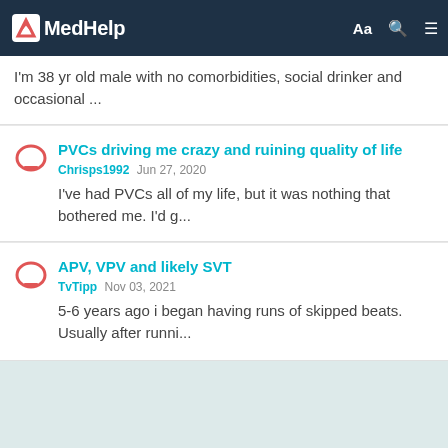MedHelp
I'm 38 yr old male with no comorbidities, social drinker and occasional ...
PVCs driving me crazy and ruining quality of life
Chrisps1992 Jun 27, 2020
I've had PVCs all of my life, but it was nothing that bothered me. I'd g...
APV, VPV and likely SVT
TvTipp Nov 03, 2021
5-6 years ago i began having runs of skipped beats. Usually after runni...